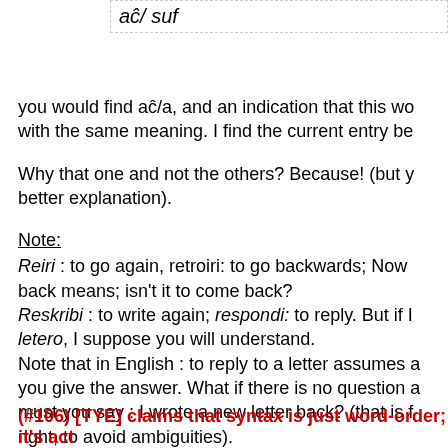aĉ/ suf
you would find aĉ/a, and an indication that this wo with the same meaning. I find the current entry be
Why that one and not the others? Because! (but y better explanation).
Note:
Reiri : to go again, retroiri: to go backwards; Now back means; isn't it to come back?
Reskribi : to write again; respondi: to reply. But if I letero, I suppose you will understand.
Note that in English : to reply to a letter assumes a you give the answer. What if there is no question a must you say : I wrote a new letter back? (that is f right, to avoid ambiguities).
Enough nitpicking!
(#106) [TYE] claims that syntax is just word-order; it's act